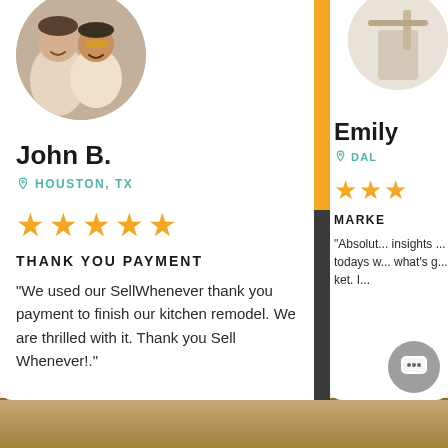[Figure (photo): Circular profile photo of John B., a couple smiling outdoors, woman wearing yellow sunglasses]
John B.
HOUSTON, TX
★★★★★
THANK YOU PAYMENT
"We used our SellWhenever thank you payment to finish our kitchen remodel. We are thrilled with it. Thank you Sell Whenever!."
[Figure (photo): Partial circular profile photo of Emily, person near shelving]
Emily
DAL...
★★★
MARKE...
"Absolut... insights ... todays w... what's g... ket. I...